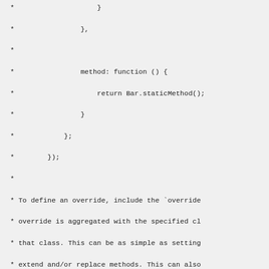Code block showing JavaScript comment documentation with override and Ext.define examples